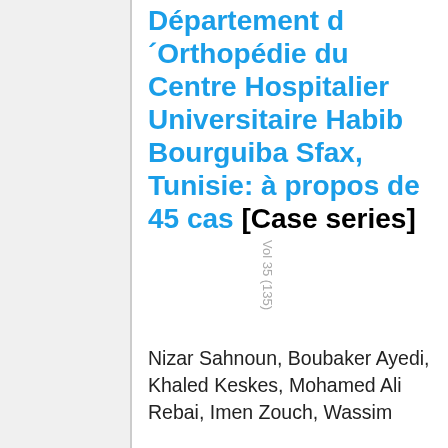Vol 35 (135)
Département d´Orthopédie du Centre Hospitalier Universitaire Habib Bourguiba Sfax, Tunisie: à propos de 45 cas [Case series]
Nizar Sahnoun, Boubaker Ayedi, Khaled Keskes, Mohamed Ali Rebai, Imen Zouch, Wassim